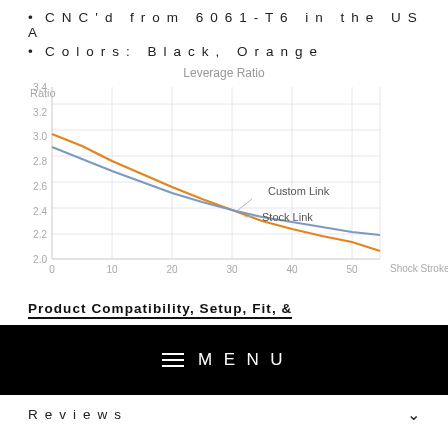CNC'd from 6061-T6 in the USA
Colors: Black, Orange
[Figure (continuous-plot): Line chart showing Leverage Ratio vs Shock Stroke (mm) for two series: Custom Link (orange, starts ~3.25 at 0mm, ends ~2.3 at 55mm) and Stock Link (blue/grey, starts ~3.1 at 0mm, ends ~2.28 at 55mm). Both curves decline from left to right.]
Product Compatibility, Setup, Fit, &
[Figure (screenshot): Black menu bar with hamburger icon and MENU text in white]
Reviews